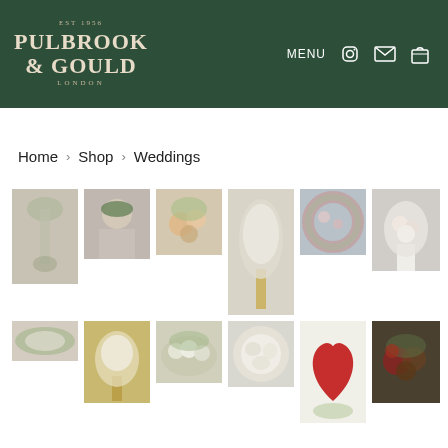EST 1956 PULBROOK & GOULD LONDON — MENU [Instagram] [Email] [Bag]
Home › Shop › Weddings
[Figure (photo): Grid of wedding floral arrangement photos — 12 product images in two rows of 6]
[Figure (photo): Tall cascading white floral arch in ornate interior]
[Figure (photo): Bride with floral crown, side profile]
[Figure (photo): Peach roses and white flowers bouquet]
[Figure (photo): Tall white floral arrangement on golden stand]
[Figure (photo): Round floral wreath with pink roses]
[Figure (photo): Bridal bouquet close-up with white dress]
[Figure (photo): Small wide arrangement with white flowers]
[Figure (photo): Tall golden stand with white floral display]
[Figure (photo): Mixed white green floral arrangement on table]
[Figure (photo): Circular white and green floral arrangement]
[Figure (photo): Red heart-shaped floral arrangement]
[Figure (photo): Dark mixed floral bouquet arrangement]